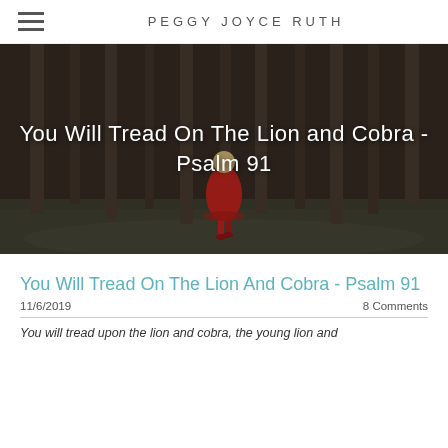PEGGY JOYCE RUTH
[Figure (photo): A person in a red coat walking through a dark forest of tall pine trees with green undergrowth, viewed from behind. White text overlay reads: You Will Tread On The Lion and Cobra - Psalm 91]
You Will Tread On The Lion And Cobra - Psalm 91
11/6/2019    8 Comments
You will tread upon the lion and cobra, the young lion and